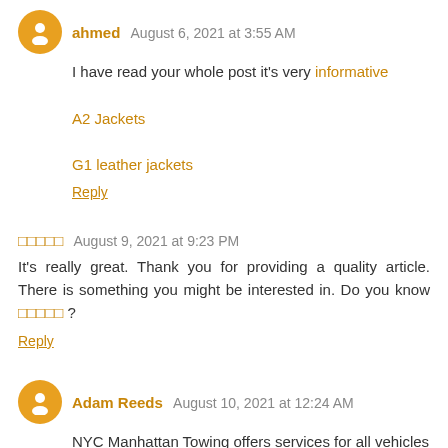ahmed  August 6, 2021 at 3:55 AM
I have read your whole post it's very informative
A2 Jackets
G1 leather jackets
Reply
□□□□□  August 9, 2021 at 9:23 PM
It's really great. Thank you for providing a quality article. There is something you might be interested in. Do you know □□□□□ ?
Reply
Adam Reeds  August 10, 2021 at 12:24 AM
NYC Manhattan Towing offers services for all vehicles with the best price and 24/7 services. Our professional team is licensed and always ready to help you with the latest